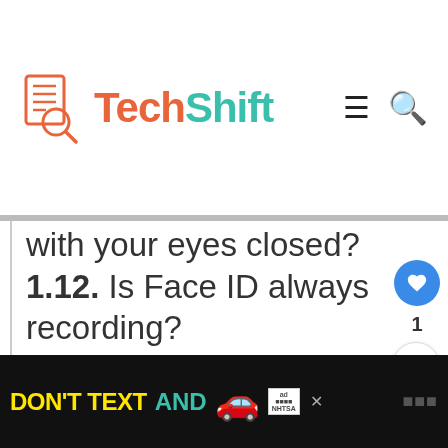TechShift
with your eyes closed?
1.12. Is Face ID always recording?
1.13. Does the iPhone 11 have Touch ID?
1.14. Does iPhone face recognition work with glasses?
WHAT'S NEXT → How do I turn off WIFI...
[Figure (infographic): DON'T TEXT AND [car emoji] ad banner with NHTSA logo]